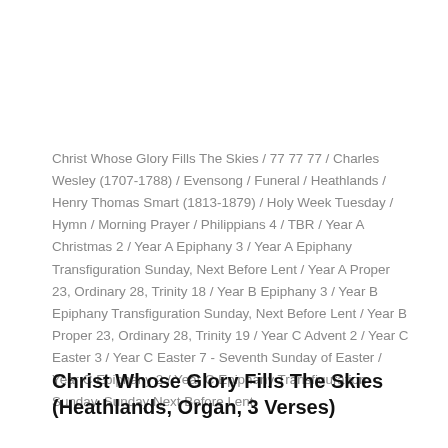Christ Whose Glory Fills The Skies / 77 77 77 / Charles Wesley (1707-1788) / Evensong / Funeral / Heathlands / Henry Thomas Smart (1813-1879) / Holy Week Tuesday / Hymn / Morning Prayer / Philippians 4 / TBR / Year A Christmas 2 / Year A Epiphany 3 / Year A Epiphany Transfiguration Sunday, Next Before Lent / Year A Proper 23, Ordinary 28, Trinity 18 / Year B Epiphany 3 / Year B Epiphany Transfiguration Sunday, Next Before Lent / Year B Proper 23, Ordinary 28, Trinity 19 / Year C Advent 2 / Year C Easter 3 / Year C Easter 7 - Seventh Sunday of Easter / Year C Epiphany 2 / Year C Epiphany Transfiguration Sunday, Sunday Next Before Lent
Christ Whose Glory Fills The Skies (Heathlands, Organ, 3 Verses)